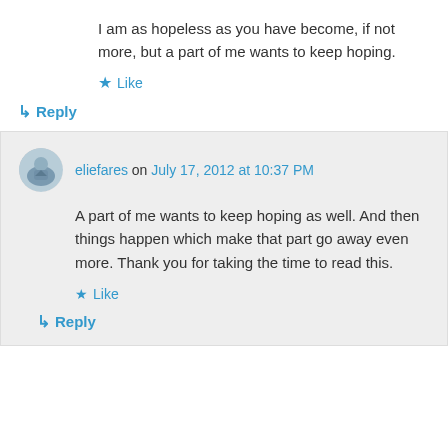I am as hopeless as you have become, if not more, but a part of me wants to keep hoping.
★ Like
↳ Reply
eliefares on July 17, 2012 at 10:37 PM
A part of me wants to keep hoping as well. And then things happen which make that part go away even more. Thank you for taking the time to read this.
★ Like
↳ Reply